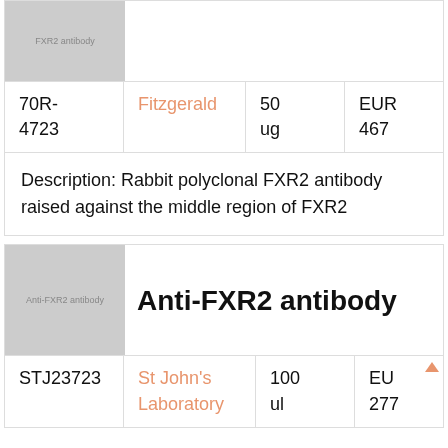[Figure (photo): Product image placeholder for FXR2 antibody (top, partially visible)]
| Catalog | Supplier | Qty | Price |
| --- | --- | --- | --- |
| 70R-4723 | Fitzgerald | 50 ug | EUR 467 |
Description: Rabbit polyclonal FXR2 antibody raised against the middle region of FXR2
[Figure (photo): Product image placeholder for Anti-FXR2 antibody]
Anti-FXR2 antibody
| Catalog | Supplier | Qty | Price |
| --- | --- | --- | --- |
| STJ23723 | St John's Laboratory | 100 ul | 277 |